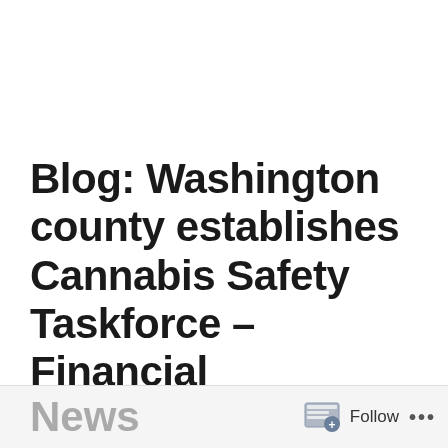Blog: Washington county establishes Cannabis Safety Taskforce – Financial Regulation News – Financial Regulation News
News  Follow ...